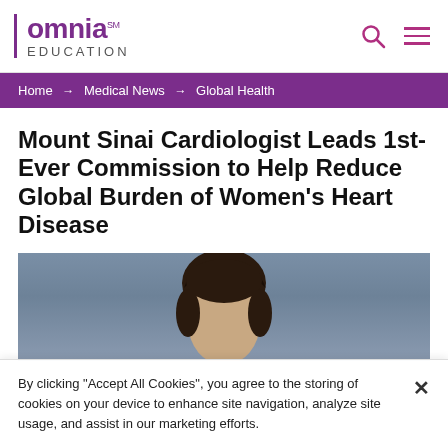omnia℠ EDUCATION
Home → Medical News → Global Health
Mount Sinai Cardiologist Leads 1st-Ever Commission to Help Reduce Global Burden of Women's Heart Disease
[Figure (photo): Portrait photo of a woman with dark hair pulled back, against a blue-grey background]
By clicking "Accept All Cookies", you agree to the storing of cookies on your device to enhance site navigation, analyze site usage, and assist in our marketing efforts.